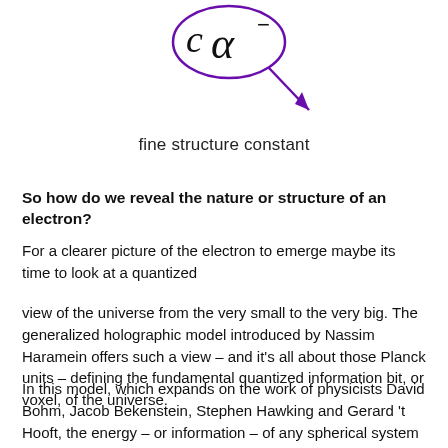[Figure (illustration): Mathematical expression 'c alpha' with a superscript minus sign, enclosed in a purple circle with a purple arrow pointing down-right, indicating the fine structure constant.]
fine structure constant
So how do we reveal the nature or structure of an electron?
For a clearer picture of the electron to emerge maybe its time to look at a quantized
view of the universe from the very small to the very big. The generalized holographic model introduced by Nassim Haramein offers such a view – and it's all about those Planck units – defining the fundamental quantized information bit, or voxel, of the universe.
In this model, which expands on the work of physicists David Bohm, Jacob Bekenstein, Stephen Hawking and Gerard 't Hooft, the energy – or information – of any spherical system is proportional to the number of Planck Spherical Units (PSUs) or voxels within the spherical volume (volume entropy) and the number of voxels available on the spherical surface horizon